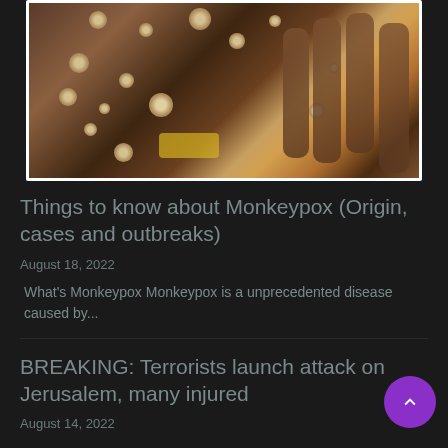[Figure (photo): Close-up photo of a person's arm and hand showing monkeypox skin lesions — multiple raised bumps/pustules visible on dark skin against a dark background with a yellow element visible]
Things to know about Monkeypox (Origin, cases and outbreaks)
August 18, 2022
What's Monkeypox Monkeypox is a unprecedented disease caused by...
BREAKING: Terrorists launch attack on Jerusalem, many injured
August 14, 2022